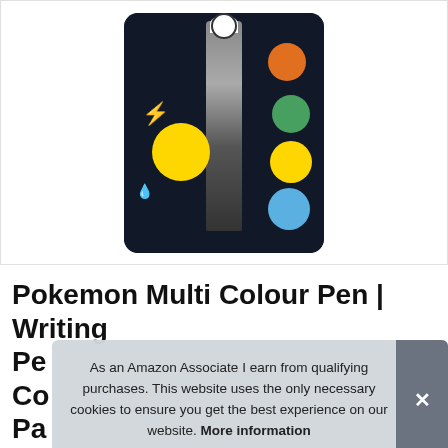[Figure (photo): Pokemon Multi Colour Pen product photo on black card packaging featuring Pikachu, Charmander, Bulbasaur, and Squirtle characters]
Pokemon Multi Colour Pen | Writing Pe... Co... Pa...
As an Amazon Associate I earn from qualifying purchases. This website uses the only necessary cookies to ensure you get the best experience on our website. More information